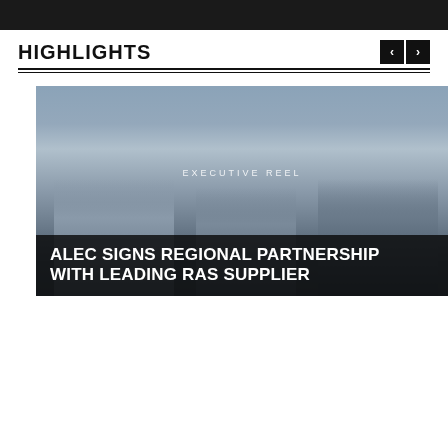[Figure (photo): Dark top banner image strip showing a partial photograph]
HIGHLIGHTS
[Figure (photo): Photo of three people seated at a table with a skyline view behind them. Overlay text reads EXECUTIVE REEL and ALEC SIGNS REGIONAL PARTNERSHIP WITH LEADING RAS SUPPLIER]
[Figure (photo): Light blue-grey card thumbnail with text 'Discover Valuable' at the bottom]